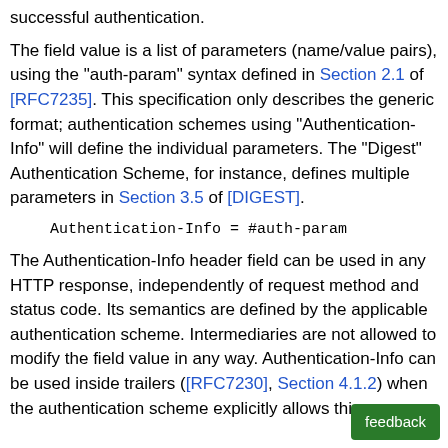successful authentication.
The field value is a list of parameters (name/value pairs), using the "auth-param" syntax defined in Section 2.1 of [RFC7235]. This specification only describes the generic format; authentication schemes using "Authentication-Info" will define the individual parameters. The "Digest" Authentication Scheme, for instance, defines multiple parameters in Section 3.5 of [DIGEST].
The Authentication-Info header field can be used in any HTTP response, independently of request method and status code. Its semantics are defined by the applicable authentication scheme. Intermediaries are not allowed to modify the field value in any way. Authentication-Info can be used inside trailers ([RFC7230], Section 4.1.2) when the authentication scheme explicitly allows this.